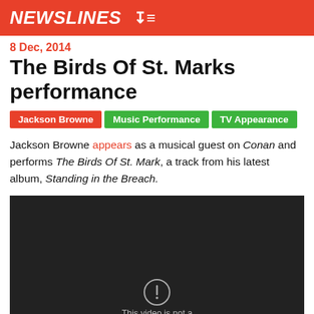NEWSLINES
8 Dec, 2014
The Birds Of St. Marks performance
Jackson Browne
Music Performance
TV Appearance
Jackson Browne appears as a musical guest on Conan and performs The Birds Of St. Mark, a track from his latest album, Standing in the Breach.
[Figure (screenshot): Dark video embed placeholder with a notice icon at the bottom center indicating the video is unavailable]